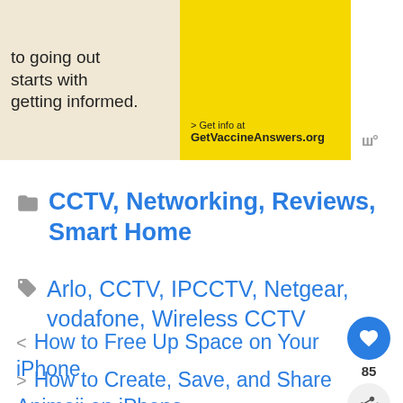[Figure (photo): Advertisement banner partially visible at top. Left side has beige background with text 'to going out starts with getting informed.' Right side is yellow with '> Get info at GetVaccineAnswers.org'. Gray icon visible at right edge.]
CCTV, Networking, Reviews, Smart Home
Arlo, CCTV, IPCCTV, Netgear, vodafone, Wireless CCTV
< How to Free Up Space on Your iPhone
> How to Create, Save, and Share Animoji on iPhone